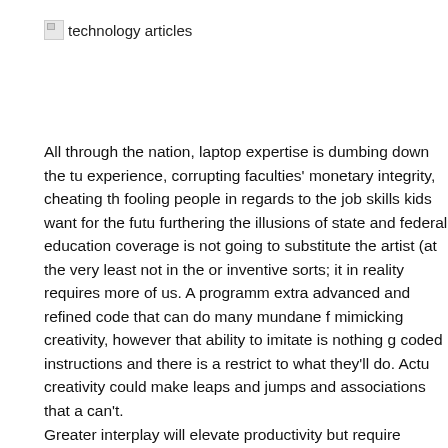technology articles
All through the nation, laptop expertise is dumbing down the tu experience, corrupting faculties' monetary integrity, cheating th fooling people in regards to the job skills kids want for the futu furthering the illusions of state and federal education coverage is not going to substitute the artist (at the very least not in the or inventive sorts; it in reality requires more of us. A programm extra advanced and refined code that can do many mundane f mimicking creativity, however that ability to imitate is nothing g coded instructions and there is a restrict to what they'll do. Actu creativity could make leaps and jumps and associations that a can't. Greater interplay will elevate productivity but require different a higher skills, new know-how interfaces, totally different wage fa some instances, and several types of investments by business